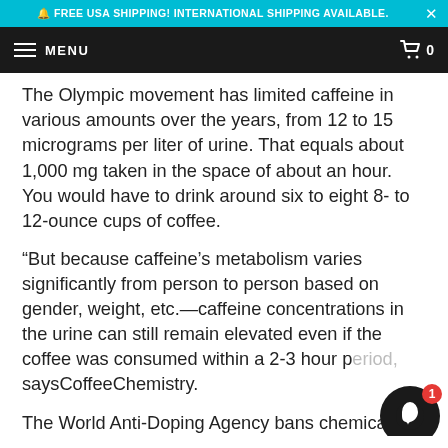🔔 FREE USA SHIPPING! INTERNATIONAL SHIPPING AVAILABLE.  ×
MENU  🛒 0
The Olympic movement has limited caffeine in various amounts over the years, from 12 to 15 micrograms per liter of urine. That equals about 1,000 mg taken in the space of about an hour. You would have to drink around six to eight 8- to 12-ounce cups of coffee.
“But because caffeine’s metabolism varies significantly from person to person based on gender, weight, etc.—caffeine concentrations in the urine can still remain elevated even if the coffee was consumed within a 2-3 hour period, saysCoffeeChemistry.
The World Anti-Doping Agency bans chemicals